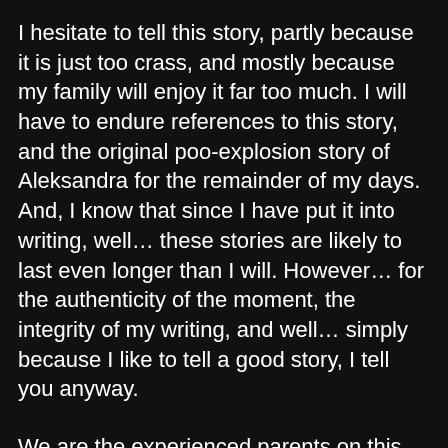I hesitate to tell this story, partly because it is just too crass, and mostly because my family will enjoy it far too much. I will have to endure references to this story, and the original poo-explosion story of Aleksandra for the remainder of my days. And, I know that since I have put it into writing, well… these stories are likely to last even longer than I will. However… for the authenticity of the moment, the integrity of my writing, and well… simply because I like to tell a good story, I tell you anyway.
We are the experienced parents on this trip. The other parents look to us, and ask us advice on how to handle situations, what to buy, what to pack, what to feed, and we hear about their irrational fears and neurotic worries. And so… today we helped them all feel a little better about their own inadequacies as we found ourselves utterly unprepared, although (like I